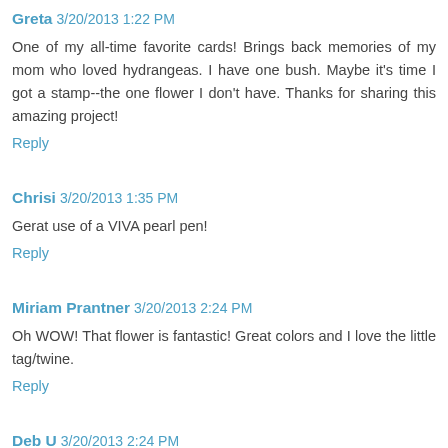Greta 3/20/2013 1:22 PM
One of my all-time favorite cards! Brings back memories of my mom who loved hydrangeas. I have one bush. Maybe it's time I got a stamp--the one flower I don't have. Thanks for sharing this amazing project!
Reply
Chrisi 3/20/2013 1:35 PM
Gerat use of a VIVA pearl pen!
Reply
Miriam Prantner 3/20/2013 2:24 PM
Oh WOW! That flower is fantastic! Great colors and I love the little tag/twine.
Reply
Deb U  3/20/2013 2:24 PM